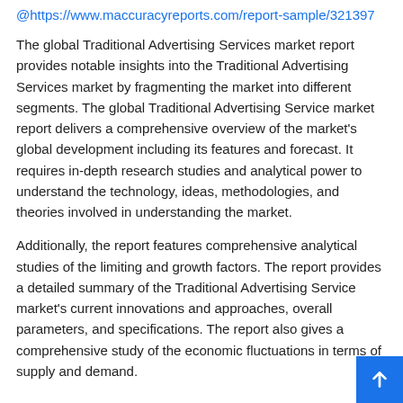@https://www.maccuracyreports.com/report-sample/321397
The global Traditional Advertising Services market report provides notable insights into the Traditional Advertising Services market by fragmenting the market into different segments. The global Traditional Advertising Service market report delivers a comprehensive overview of the market's global development including its features and forecast. It requires in-depth research studies and analytical power to understand the technology, ideas, methodologies, and theories involved in understanding the market.
Additionally, the report features comprehensive analytical studies of the limiting and growth factors. The report provides a detailed summary of the Traditional Advertising Service market's current innovations and approaches, overall parameters, and specifications. The report also gives a comprehensive study of the economic fluctuations in terms of supply and demand.